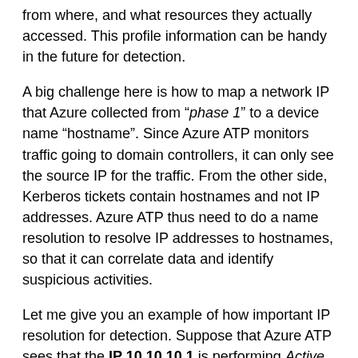from where, and what resources they actually accessed. This profile information can be handy in the future for detection.
A big challenge here is how to map a network IP that Azure collected from “phase 1” to a device name “hostname”. Since Azure ATP monitors traffic going to domain controllers, it can only see the source IP for the traffic. From the other side, Kerberos tickets contain hostnames and not IP addresses. Azure ATP thus need to do a name resolution to resolve IP addresses to hostnames, so that it can correlate data and identify suspicious activities.
Let me give you an example of how important IP resolution for detection. Suppose that Azure ATP sees that the IP 10.10.10.1 is performing Active Directory Replication request. Azure ATP knows that this request is legitimate only if it comes from a domain controller.